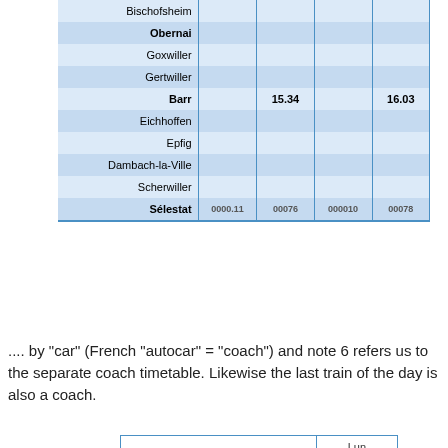| Station |  |  |  |  |
| --- | --- | --- | --- | --- |
| Bischofsheim |  |  |  |  |
| Obernai |  |  |  |  |
| Goxwiller |  |  |  |  |
| Gertwiller |  |  |  |  |
| Barr |  | 15.34 |  | 16.03 |
| Eichhoffen |  |  |  |  |
| Epfig |  |  |  |  |
| Dambach-la-Ville |  |  |  |  |
| Scherwiller |  |  |  |  |
| Sélestat |  |  |  |  |
.... by "car" (French "autocar" = "coach") and note 6 refers us to the separate coach timetable. Likewise the last train of the day is also a coach.
|  | Lun à Ven 6 CAR |
| --- | --- |
| Strasbourg | 21.25 |
| Entzheim-Aéroport | 21.40 |
| Molsheim | 22.10 |
| Dorlisheim |  |
| Rosheim |  |
| Bischofsheim |  |
| Obernai |  |
| Goxwiller |  |
| Gertwiller |  |
| Barr | 22.50 |
| Eichhoffen |  |
| Epfig |  |